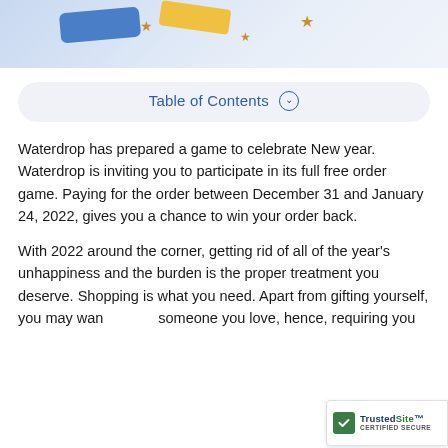[Figure (photo): Partial view of a festive New Year themed product photo with blue and gold decorations, stars, and confetti on a light background]
Table of Contents
Waterdrop has prepared a game to celebrate New year. Waterdrop is inviting you to participate in its full free order game. Paying for the order between December 31 and January 24, 2022, gives you a chance to win your order back.
With 2022 around the corner, getting rid of all of the year's unhappiness and the burden is the proper treatment you deserve. Shopping is what you need. Apart from gifting yourself, you may wan someone you love, hence, requiring you